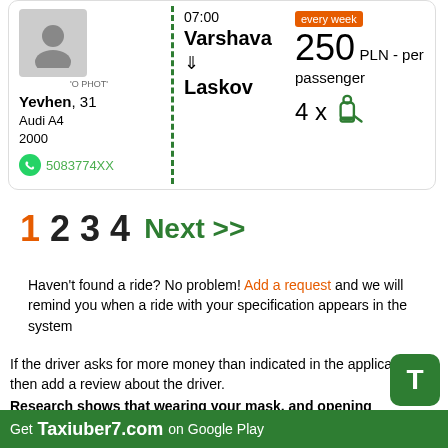[Figure (screenshot): Driver listing card showing photo placeholder, driver name Yevhen age 31, car Audi A4 2000, WhatsApp number 5083774XX, route Varshava to Laskov, price 250 PLN per passenger, 4 seats, every week badge]
07:00
Varshava → Laskov
250 PLN - per passenger
4 x [seat icon]
every week
Yevhen, 31
Audi A4
2000
5083774XX
1  2  3  4  Next >>
Haven't found a ride? No problem! Add a request and we will remind you when a ride with your specification appears in the system
If the driver asks for more money than indicated in the application then add a review about the driver.
Research shows that wearing your mask, and opening the front passenger window, and the window behind the driver can reduce the spread of coronavirus in your vehicle
Get Taxiuber7.com on Google Play